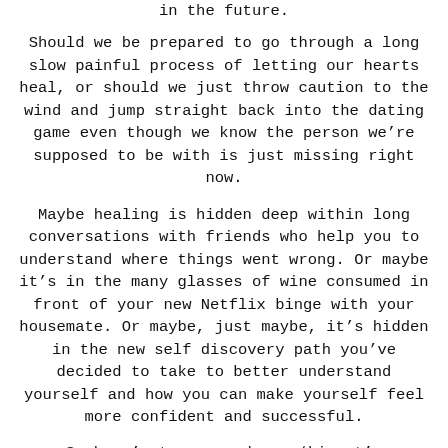in the future.
Should we be prepared to go through a long slow painful process of letting our hearts heal, or should we just throw caution to the wind and jump straight back into the dating game even though we know the person we’re supposed to be with is just missing right now.
Maybe healing is hidden deep within long conversations with friends who help you to understand where things went wrong. Or maybe it’s in the many glasses of wine consumed in front of your new Netflix binge with your housemate. Or maybe, just maybe, it’s hidden in the new self discovery path you’ve decided to take to better understand yourself and how you can make yourself feel more confident and successful.
So here’s to us, and our ‘kismet’.
I’ll always believe this …. because there was too much ‘coincidence’ surrounding me and you for it not to have been fate (or my new favourite word kismet) that we